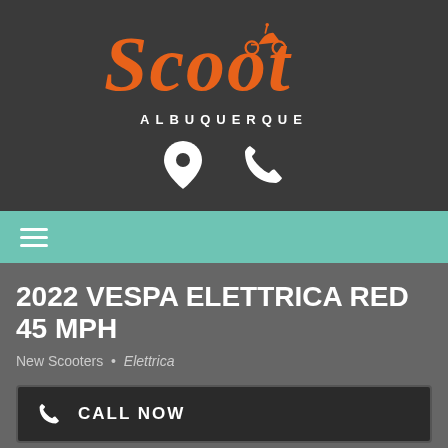[Figure (logo): Scoot Albuquerque logo with orange script 'Scoot' text, small scooter icon, and 'ALBUQUERQUE' in white letters, with location pin and phone icons below]
[Figure (other): Teal navigation bar with white hamburger menu icon (three horizontal lines)]
2022 VESPA ELETTRICA RED 45 MPH
New Scooters • Elettrica
CALL NOW